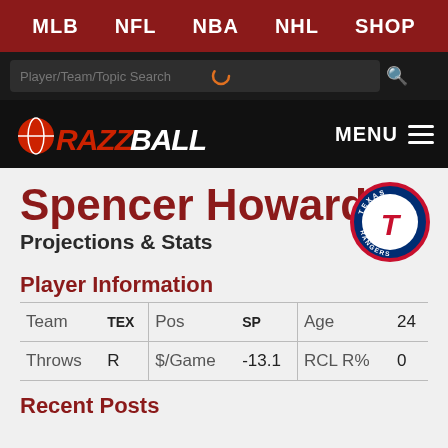MLB  NFL  NBA  NHL  SHOP
[Figure (screenshot): Razzball logo on dark background with MENU button]
Spencer Howard
Projections & Stats
[Figure (logo): Texas Rangers team logo]
Player Information
| Team | TEX | Pos | SP | Age | 24 |
| Throws | R | $/Game | -13.1 | RCL R% | 0 |
Recent Posts